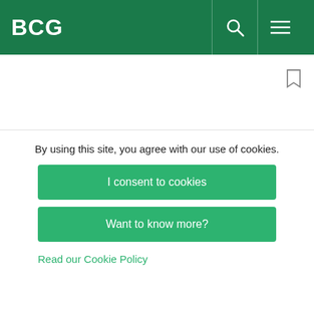BCG
high proportion of innovation leaders are also becoming more nimble by moving from code-heavy, monolithic applications to small, self-contained “microservices.”
Investment Across the Full Spectrum of
By using this site, you agree with our use of cookies.
I consent to cookies
Want to know more?
Read our Cookie Policy